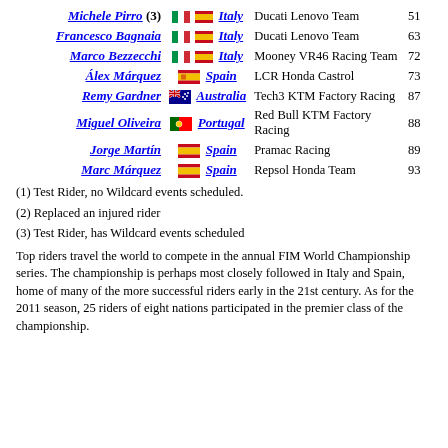| Rider | Nationality | Team | Number |
| --- | --- | --- | --- |
| Michele Pirro (3) | Italy | Ducati Lenovo Team | 51 |
| Francesco Bagnaia | Italy | Ducati Lenovo Team | 63 |
| Marco Bezzecchi | Italy | Mooney VR46 Racing Team | 72 |
| Álex Márquez | Spain | LCR Honda Castrol | 73 |
| Remy Gardner | Australia | Tech3 KTM Factory Racing | 87 |
| Miguel Oliveira | Portugal | Red Bull KTM Factory Racing | 88 |
| Jorge Martín | Spain | Pramac Racing | 89 |
| Marc Márquez | Spain | Repsol Honda Team | 93 |
(1) Test Rider, no Wildcard events scheduled.
(2) Replaced an injured rider
(3) Test Rider, has Wildcard events scheduled
Top riders travel the world to compete in the annual FIM World Championship series. The championship is perhaps most closely followed in Italy and Spain, home of many of the more successful riders early in the 21st century. As for the 2011 season, 25 riders of eight nations participated in the premier class of the championship.